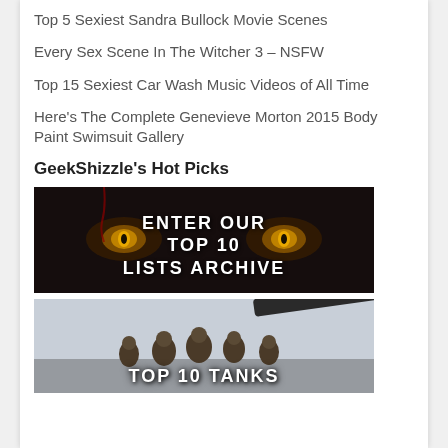Top 5 Sexiest Sandra Bullock Movie Scenes
Every Sex Scene In The Witcher 3 – NSFW
Top 15 Sexiest Car Wash Music Videos of All Time
Here's The Complete Genevieve Morton 2015 Body Paint Swimsuit Gallery
GeekShizzle's Hot Picks
[Figure (photo): Dark horror-themed promotional image with glowing eyes and bold white text reading ENTER OUR TOP 10 LISTS ARCHIVE]
[Figure (photo): Movie scene with soldiers near a tank, partial text visible reading TOP 10 TANKS]